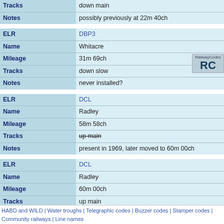| Field | Value |
| --- | --- |
| Tracks | down main |
| Notes | possibly previously at 22m 40ch |
| Field | Value |
| --- | --- |
| ELR | DBP3 |
| Name | Whitacre |
| Mileage | 31m 69ch |
| Tracks | down slow |
| Notes | never installed? |
| Field | Value |
| --- | --- |
| ELR | DCL |
| Name | Radley |
| Mileage | 58m 58ch |
| Tracks | up main (strikethrough) |
| Notes | present in 1969, later moved to 60m 00ch |
| Field | Value |
| --- | --- |
| ELR | DCL |
| Name | Radley |
| Mileage | 60m 00ch |
| Tracks | up main |
| Notes | previously at 58m 58ch in 1969 |
| Field | Value |
| --- | --- |
| ELR | DCL |
| Name | Cropredy |
| Mileage | 89m 79ch |
HABD and WILD | Water troughs | Telegraphic codes | Buzzer codes | Stamper codes | Community railways | Line names